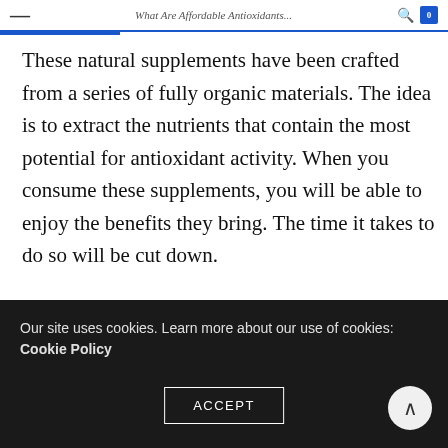What Are Affordable Antioxidants...
These natural supplements have been crafted from a series of fully organic materials. The idea is to extract the nutrients that contain the most potential for antioxidant activity. When you consume these supplements, you will be able to enjoy the benefits they bring. The time it takes to do so will be cut down.
It is true that these supplements are not designed to be a full-time substitute for eating healthy and natural
Our site uses cookies. Learn more about our use of cookies: Cookie Policy
ACCEPT